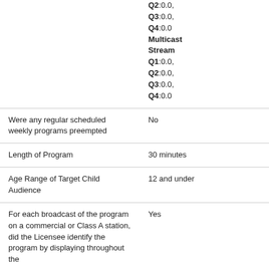| Field | Value |
| --- | --- |
|  | Q2:0.0,
Q3:0.0,
Q4:0.0
Multicast Stream
Q1:0.0,
Q2:0.0,
Q3:0.0,
Q4:0.0 |
| Were any regular scheduled weekly programs preempted | No |
| Length of Program | 30 minutes |
| Age Range of Target Child Audience | 12 and under |
| For each broadcast of the program on a commercial or Class A station, did the Licensee identify the program by displaying throughout the | Yes |